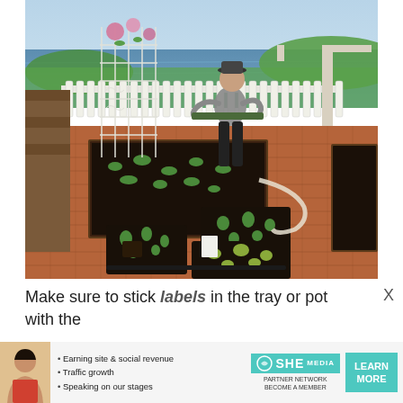[Figure (photo): A person tending to raised garden beds on a brick patio. There is a white picket fence, an ornate white metal trellis, small seedling trays on the ground, a blue metal chair, and a body of water visible in the background.]
Make sure to stick labels in the tray or pot with the
[Figure (infographic): Advertisement banner for SHE Media Partner Network featuring a woman, bullet points: Earning site & social revenue, Traffic growth, Speaking on our stages, the SHE logo, and a teal LEARN MORE button.]